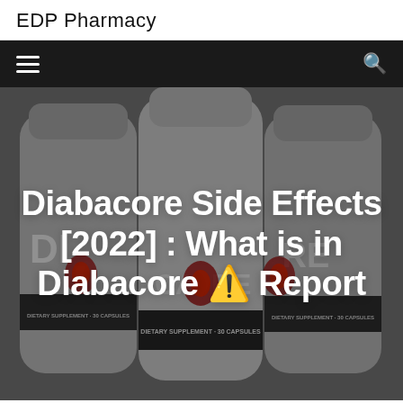EDP Pharmacy
[Figure (photo): Three gray supplement bottles labeled 'Diabacore' with red flame logo and text 'DIETARY SUPPLEMENT - 30 CAPSULES', arranged in a close-up group shot against a dark background.]
Diabacore Side Effects [2022] : What is in Diabacore ⚠ Report